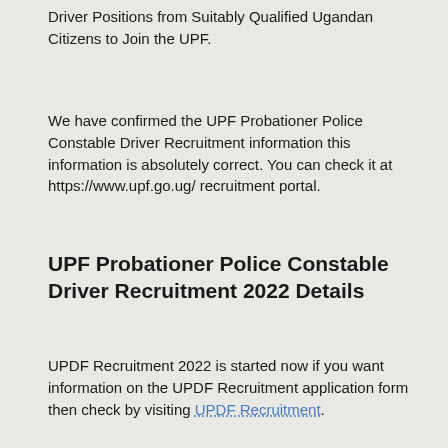Driver Positions from Suitably Qualified Ugandan Citizens to Join the UPF.
We have confirmed the UPF Probationer Police Constable Driver Recruitment information this information is absolutely correct. You can check it at https://www.upf.go.ug/ recruitment portal.
UPF Probationer Police Constable Driver Recruitment 2022 Details
UPDF Recruitment 2022 is started now if you want information on the UPDF Recruitment application form then check by visiting UPDF Recruitment.